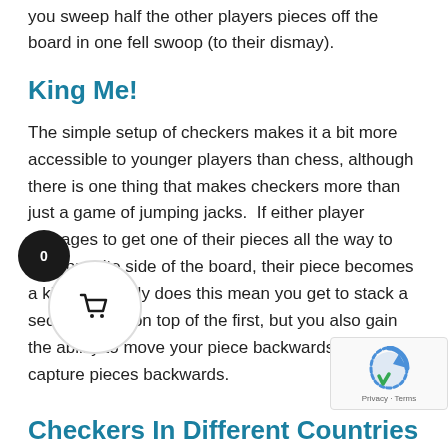you sweep half the other players pieces off the board in one fell swoop (to their dismay).
King Me!
The simple setup of checkers makes it a bit more accessible to younger players than chess, although there is one thing that makes checkers more than just a game of jumping jacks.  If either player manages to get one of their pieces all the way to the opposite side of the board, their piece becomes a king.  Not only does this mean you get to stack a second piece on top of the first, but you also gain the ability to move your piece backwards and even capture pieces backwards.
Checkers In Different Countries